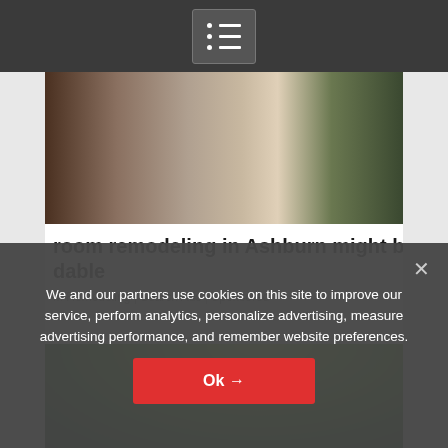[Figure (screenshot): Dark navigation bar at top with a menu/list icon (white dots and lines on grey box)]
[Figure (photo): Photo of two people handling furniture wrapped in plastic wrap]
room remodeling in Ashburn might b dable
m Remodeling | Search Ads | Sponsored
[Figure (photo): Photo of green trees canopy viewed from below]
We and our partners use cookies on this site to improve our service, perform analytics, personalize advertising, measure advertising performance, and remember website preferences.
Ok →